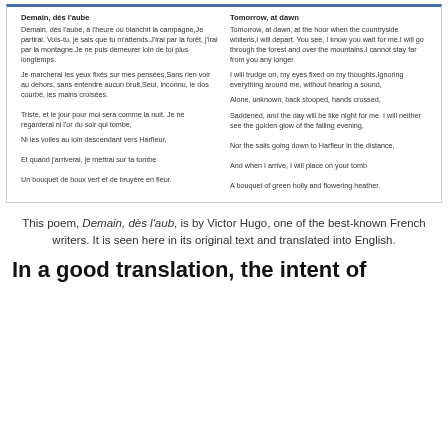| French | English |
| --- | --- |
| Demain, dès l'aube | Tomorrow, at dawn |
| Demain, dès l'aube, à l'heure où blanchit la campagne,Je partirai. Vois-tu, je sais que tu m'attends.J'irai par la forêt, j'irai par la montagne.Je ne puis demeurer loin de toi plus longtemps. | Tomorrow, at dawn, at the hour when the countryside whitens,I will depart. You see, I know you wait for me.I will go through the forest and over the mountains.I cannot stay far from you any longer. |
| Je marcherai les yeux fixés sur mes pensées,Sans rien voir au dehors, sans entendre aucun bruit,Seul, inconnu, le dos courbé, les mains croisées. | I will trudge on, my eyes fixed on my thoughts,Ignoring everything around me, without hearing a sound,

Alone, unknown, back stooped, hands crossed, |
| Triste, et le jour pour moi sera comme la nuit. Je ne regarderai ni l'or du soir qui tombe, | Saddened, and the day will be like night for me. I will neither see the golden glow of the falling evening, |
| Ni les voiles au loin descendant vers Harfleur, | Nor the sails going down to Harfleur in the distance, |
| Et quand j'arriverai, je mettrai sur ta tombe | And when I arrive, I will place on your tomb |
| Un bouquet de houx vert et de bruyère en fleur. | A bouquet of green holly and flowering heather. |
This poem, Demain, dès l'aub, is by Victor Hugo, one of the best-known French writers. It is seen here in its original text and translated into English.
In a good translation, the intent of